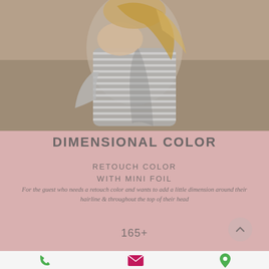[Figure (photo): Woman from behind wearing a striped grey off-shoulder fitted top, with blonde hair, standing outdoors in a field setting.]
DIMENSIONAL COLOR
RETOUCH COLOR WITH MINI FOIL
For the guest who needs a retouch color and wants to add a little dimension around their hairline & throughout the top of their head
165+
[Figure (infographic): Bottom navigation bar with phone icon (green), email/envelope icon (pink/magenta), and location pin icon (green).]